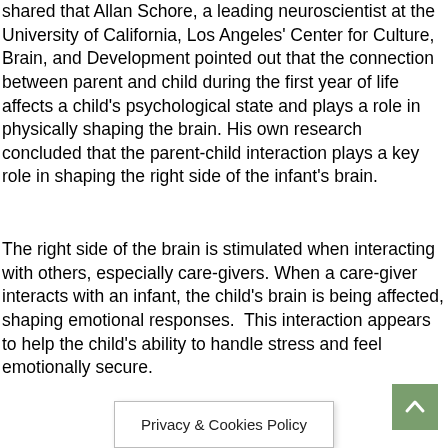shared that Allan Schore, a leading neuroscientist at the University of California, Los Angeles' Center for Culture, Brain, and Development pointed out that the connection between parent and child during the first year of life affects a child's psychological state and plays a role in physically shaping the brain. His own research concluded that the parent-child interaction plays a key role in shaping the right side of the infant's brain.
The right side of the brain is stimulated when interacting with others, especially care-givers. When a care-giver interacts with an infant, the child's brain is being affected, shaping emotional responses.  This interaction appears to help the child's ability to handle stress and feel emotionally secure.
Privacy & Cookies Policy